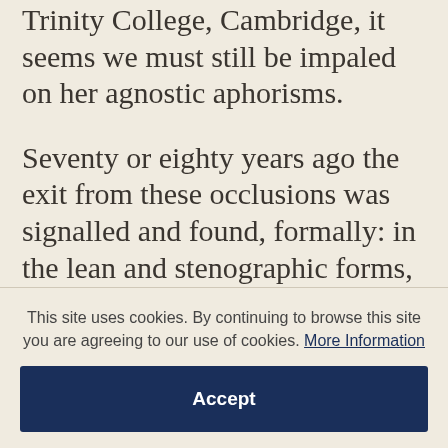Trinity College, Cambridge, it seems we must still be impaled on her agnostic aphorisms.
Seventy or eighty years ago the exit from these occlusions was signalled and found, formally: in the lean and stenographic forms, exploring the strange beauties of disconnection, that nowadays we call ‘Modernist’ and are invited to consign to history’s dustbin. What survives of them – indestructibly, for those who have ears to hear – is an acoustic shapeliness that bypasses George Eliot’s threatening alternatives by exhibiting a
This site uses cookies. By continuing to browse this site you are agreeing to our use of cookies. More Information
Accept